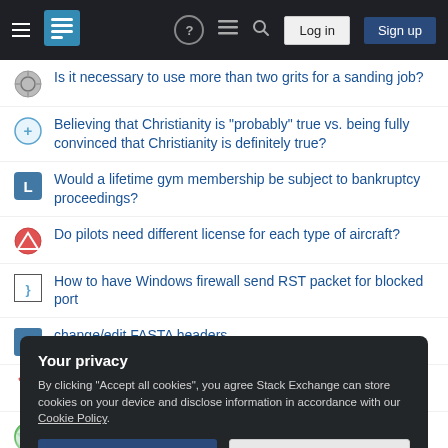Stack Exchange navigation bar with hamburger menu, logo, help, reviews, search, Log in, Sign up
Is it necessary to use more than two grits for a sanding job?
Believing that Christianity is "probably" true vs. being fully convinced that Christianity is definitely true?
Would a lifetime gym membership be subject to bankruptcy proceedings?
Do pilots need different license for each type of aircraft?
How to have Windows firewall send RST packet for blocked port
change/edit FASTA headers
Driving fast on gear 4 and smelling burnt smell after
How can photons have an electric field without having a charge?
Your privacy
By clicking "Accept all cookies", you agree Stack Exchange can store cookies on your device and disclose information in accordance with our Cookie Policy.
Accept all cookies   Customize settings
What are some non-religious reasons to have highly-advanced physical and chemical simulations without good "human factors" AI?